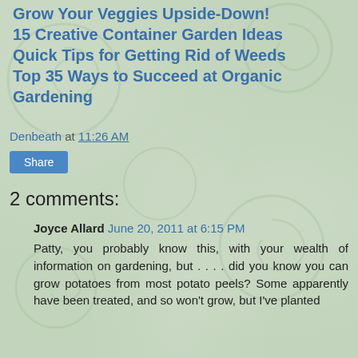Grow Your Veggies Upside-Down!
15 Creative Container Garden Ideas
Quick Tips for Getting Rid of Weeds
Top 35 Ways to Succeed at Organic Gardening
Denbeath at 11:26 AM
Share
2 comments:
Joyce Allard  June 20, 2011 at 6:15 PM
Patty, you probably know this, with your wealth of information on gardening, but . . . . did you know you can grow potatoes from most potato peels? Some apparently have been treated, and so won't grow, but I've planted